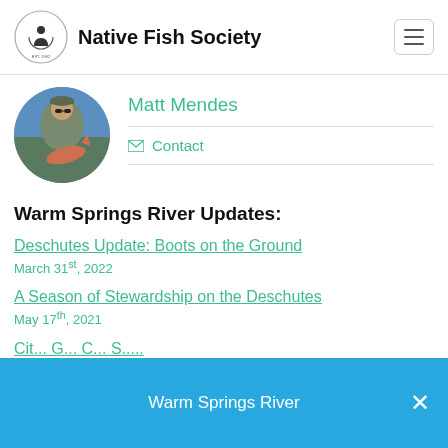Native Fish Society
Matt Mendes
Contact
Warm Springs River Updates:
Deschutes Update: Boots on the Ground
March 31st, 2022
A Season of Stewardship on the Deschutes
May 17th, 2021
Warm Springs River